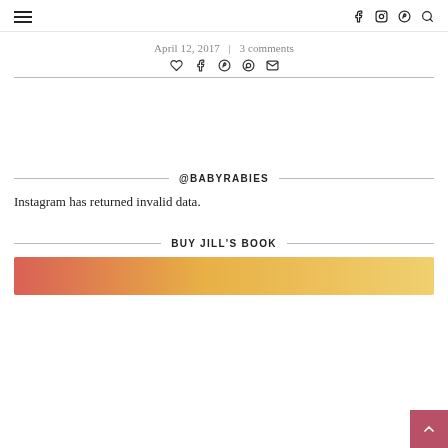≡  [navigation icons: f, instagram, pinterest, search]
April 12, 2017  |  3 comments
[Share icons: heart, facebook, pinterest, whatsapp, email]
@BABYRABIES
Instagram has returned invalid data.
BUY JILL'S BOOK
[Figure (illustration): Partial view of book cover with warm orange/yellow gradient colors]